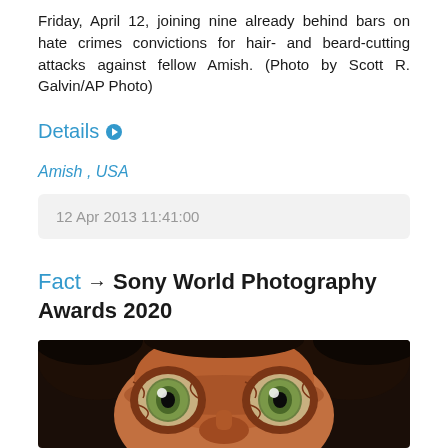Friday, April 12, joining nine already behind bars on hate crimes convictions for hair- and beard-cutting attacks against fellow Amish. (Photo by Scott R. Galvin/AP Photo)
Details
Amish , USA
12 Apr 2013 11:41:00
Fact → Sony World Photography Awards 2020
[Figure (photo): Close-up photograph of a baby monkey face with large green eyes, brown fur, dark background — Sony World Photography Awards 2020 winning photo]